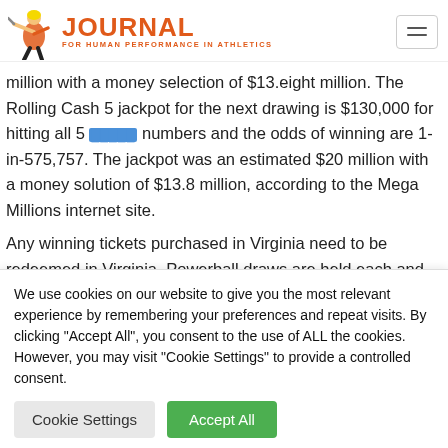JOURNAL FOR HUMAN PERFORMANCE IN ATHLETICS
million with a money selection of $13.eight million. The Rolling Cash 5 jackpot for the next drawing is $130,000 for hitting all 5 numbers and the odds of winning are 1-in-575,757. The jackpot was an estimated $20 million with a money solution of $13.8 million, according to the Mega Millions internet site.
Any winning tickets purchased in Virginia need to be redeemed in Virginia. Powerball draws are held each and every Wednesday and
We use cookies on our website to give you the most relevant experience by remembering your preferences and repeat visits. By clicking "Accept All", you consent to the use of ALL the cookies. However, you may visit "Cookie Settings" to provide a controlled consent.